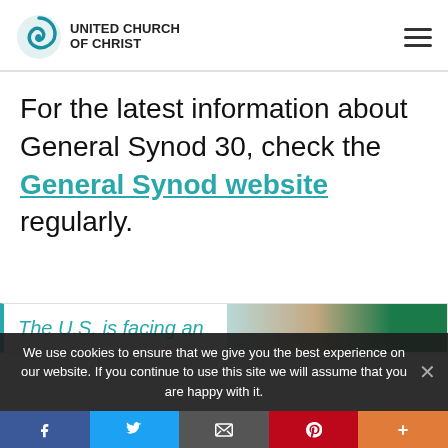UNITED CHURCH OF CHRIST
For the latest information about General Synod 30, check the General Synod website regularly.
[Figure (screenshot): Partial preview of a banner image with teal-bordered box, italic teal text 'The U.S. is facing an' and a photo collage on the right side.]
We use cookies to ensure that we give you the best experience on our website. If you continue to use this site we will assume that you are happy with it.
Social share bar: Facebook, Twitter, Email, Pinterest, More